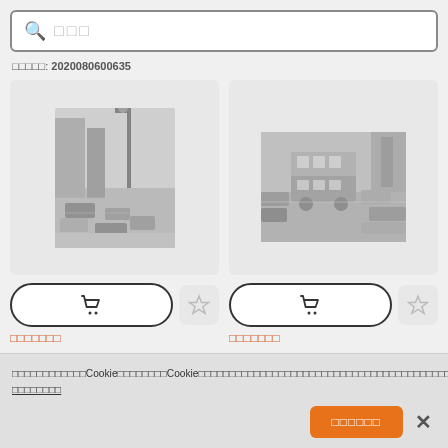[Figure (screenshot): Search bar with magnifier icon and placeholder text (Japanese characters)]
检索编号: 2020080600635
[Figure (photo): Black and white photo of busy city street with cars and a street lamp]
[Figure (photo): Black and white photo of a double-decker bus and cars on a city street]
Cart and favorite buttons for first photo
Cart and favorite buttons for second photo
Price text partially visible at bottom of first card
Price text partially visible at bottom of second card
本网站使用Cookies以改善用户体验。Cookie可能包含对您有用的个性化内容和广告。如果您继续使用该Cookie，我们将认为您接受使用。 了解更多信息
接受所有Cookie × (close button)